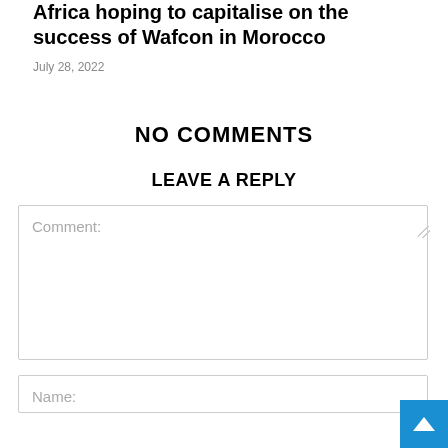Africa hoping to capitalise on the success of Wafcon in Morocco
July 28, 2022
NO COMMENTS
LEAVE A REPLY
Comment:
Name: